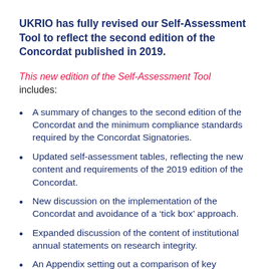UKRIO has fully revised our Self-Assessment Tool to reflect the second edition of the Concordat published in 2019.
This new edition of the Self-Assessment Tool includes:
A summary of changes to the second edition of the Concordat and the minimum compliance standards required by the Concordat Signatories.
Updated self-assessment tables, reflecting the new content and requirements of the 2019 edition of the Concordat.
New discussion on the implementation of the Concordat and avoidance of a ‘tick box’ approach.
Expanded discussion of the content of institutional annual statements on research integrity.
An Appendix setting out a comparison of key elements of the 2012 and 2019 editions of the Concordat, including the changing responsibilities of